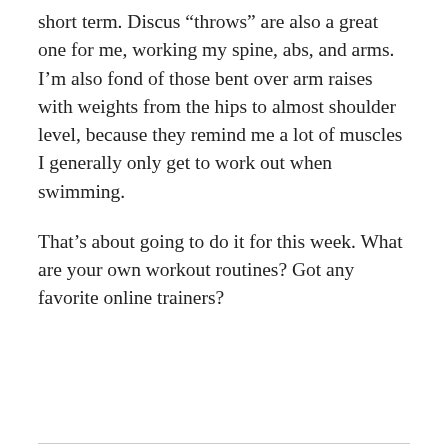short term. Discus “throws” are also a great one for me, working my spine, abs, and arms. I’m also fond of those bent over arm raises with weights from the hips to almost shoulder level, because they remind me a lot of muscles I generally only get to work out when swimming.
That’s about going to do it for this week. What are your own workout routines? Got any favorite online trainers?
Share this: